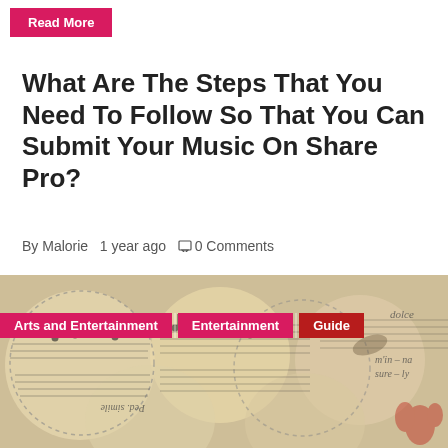Read More
What Are The Steps That You Need To Follow So That You Can Submit Your Music On Share Pro?
By Malorie   1 year ago   □ 0 Comments
[Figure (photo): A decorative photo featuring vintage sheet music arranged in circular fan/flower shapes with musical notes, with category tags overlaid: 'Arts and Entertainment', 'Entertainment', 'Guide']